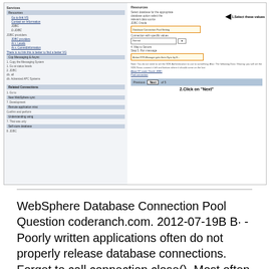[Figure (screenshot): Screenshot of a WebSphere or similar application configuration interface showing a sidebar navigation menu on the left with various items highlighted, and a main content area on the right displaying form fields with annotations: '1.Select these values' pointing to dropdown/input fields with an arrow, and '2.Click on "Next"' pointing to a navigation button at the bottom.]
WebSphere Database Connection Pool Question coderanch.com. 2012-07-19В В· - Poorly written applications often do not properly release database connections. Forget to call connection.close(). Most often in the exception case., How do you setup an Oracle JDBC data source on WebSphere Application Server 7 using from вЂњDatabase type data source and вЂњTest connectionвЂќ..